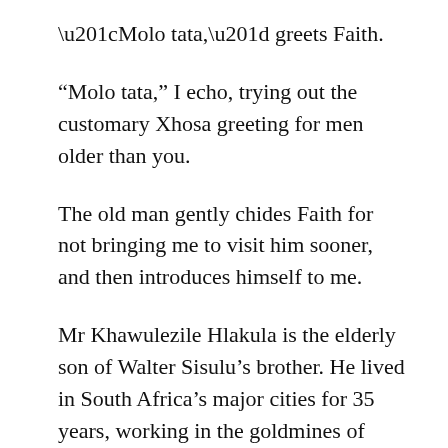“Molo tata,” greets Faith.
“Molo tata,” I echo, trying out the customary Xhosa greeting for men older than you.
The old man gently chides Faith for not bringing me to visit him sooner, and then introduces himself to me.
Mr Khawulezile Hlakula is the elderly son of Walter Sisulu’s brother. He lived in South Africa’s major cities for 35 years, working in the goldmines of Johannesburg and as an asbestos foreman in Cape Town. Now back in the village he is one of the wise elders. We stand in the